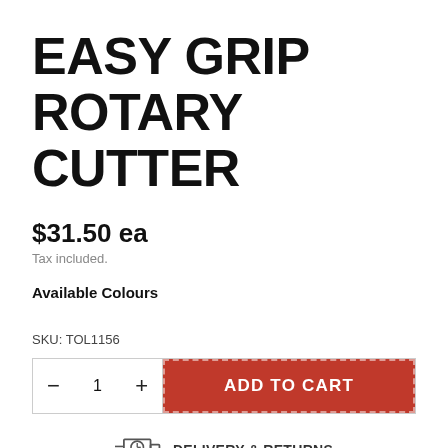EASY GRIP ROTARY CUTTER
$31.50 ea
Tax included.
Available Colours
SKU: TOL1156
[Figure (other): Quantity selector with minus button, 1, plus button, and red ADD TO CART button]
[Figure (other): Delivery truck icon with DELIVERY & RETURNS text link]